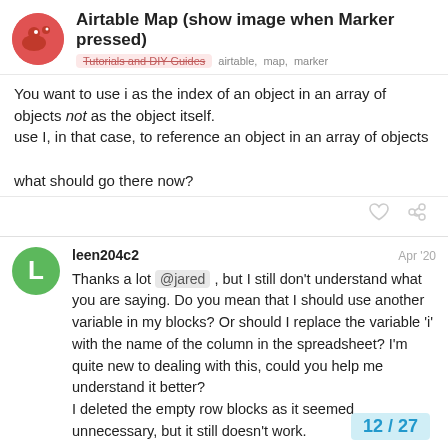Airtable Map (show image when Marker pressed)
Tutorials and DIY Guides   airtable,  map,  marker
You want to use i as the index of an object in an array of objects not as the object itself.
use I, in that case, to reference an object in an array of objects

what should go there now?
leen204c2   Apr '20
Thanks a lot @jared , but I still don't understand what you are saying. Do you mean that I should use another variable in my blocks? Or should I replace the variable 'i' with the name of the column in the spreadsheet? I'm quite new to dealing with this, could you help me understand it better?
I deleted the empty row blocks as it seemed unnecessary, but it still doesn't work.
12 / 27